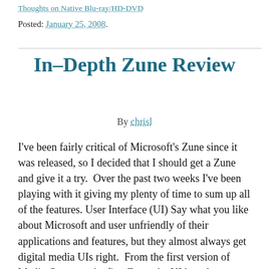Thoughts on Native Blu-ray/HD-DVD
Posted: January 25, 2008.
In-Depth Zune Review
By chrisl
I've been fairly critical of Microsoft's Zune since it was released, so I decided that I should get a Zune and give it a try.  Over the past two weeks I've been playing with it giving my plenty of time to sum up all of the features. User Interface (UI) Say what you like about Microsoft and user unfriendly of their applications and features, but they almost always get digital media UIs right.  From the first version of Media Center to the first Zune, the UI has always been amazing.